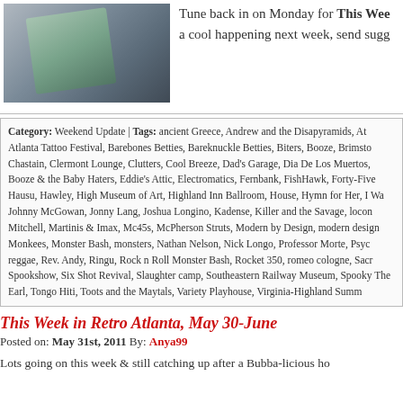[Figure (photo): Partial image of an object with blue-green coloring against a dark gray background, cropped at top-left of page]
Tune back in on Monday for This Wee a cool happening next week, send sugg
Category: Weekend Update | Tags: ancient Greece, Andrew and the Disapyramids, At Atlanta Tattoo Festival, Barebones Betties, Bareknuckle Betties, Biters, Booze, Brimsto Chastain, Clermont Lounge, Clutters, Cool Breeze, Dad's Garage, Dia De Los Muertos, Booze & the Baby Haters, Eddie's Attic, Electromatics, Fernbank, FishHawk, Forty-Five Hausu, Hawley, High Museum of Art, Highland Inn Ballroom, House, Hymn for Her, I Wa Johnny McGowan, Jonny Lang, Joshua Longino, Kadense, Killer and the Savage, locon Mitchell, Martinis & Imax, Mc45s, McPherson Struts, Modern by Design, modern design Monkees, Monster Bash, monsters, Nathan Nelson, Nick Longo, Professor Morte, Psyc reggae, Rev. Andy, Ringu, Rock n Roll Monster Bash, Rocket 350, romeo cologne, Sacr Spookshow, Six Shot Revival, Slaughter camp, Southeastern Railway Museum, Spooky The Earl, Tongo Hiti, Toots and the Maytals, Variety Playhouse, Virginia-Highland Summ
This Week in Retro Atlanta, May 30-June
Posted on: May 31st, 2011 By: Anya99
Lots going on this week & still catching up after a Bubba-licious ho